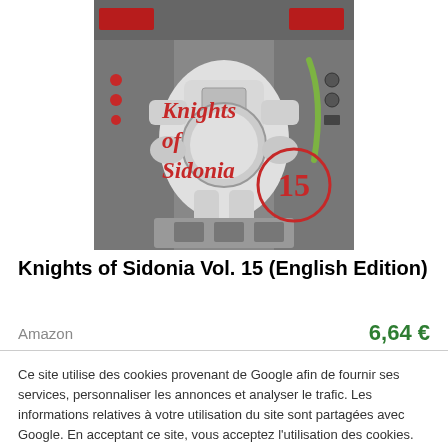[Figure (illustration): Book cover of Knights of Sidonia Vol. 15 manga — grey-scale illustration of an astronaut/mech pilot in a cockpit seat, with red text 'Knights of Sidonia' and a circled number '15'.]
Knights of Sidonia Vol. 15 (English Edition)
Amazon   6,64 €
Ce site utilise des cookies provenant de Google afin de fournir ses services, personnaliser les annonces et analyser le trafic. Les informations relatives à votre utilisation du site sont partagées avec Google. En acceptant ce site, vous acceptez l'utilisation des cookies. En savoir plus
Fermer ✖